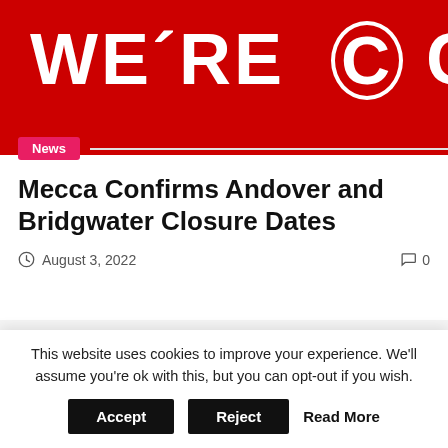[Figure (photo): Red banner with white bold text reading WE'RE CLOS (cropped), with a circular icon/logo partially visible]
News
Mecca Confirms Andover and Bridgwater Closure Dates
August 3, 2022   0
Leave a Reply
Your email address will not be published. Required fields are marked *
This website uses cookies to improve your experience. We'll assume you're ok with this, but you can opt-out if you wish.
Accept   Reject   Read More